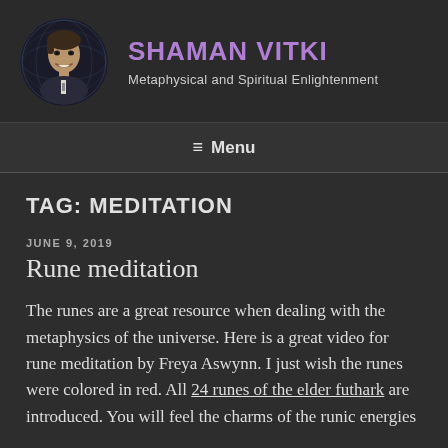[Figure (photo): Circular portrait photo of a smiling man against a dark background with a globe/Earth visible behind him]
SHAMAN VITKI
Metaphysical and Spiritual Enlightenment
≡ Menu
TAG: MEDITATION
JUNE 9, 2019
Rune meditation
The runes are a great resource when dealing with the metaphysics of the universe. Here is a great video for rune meditation by Freya Aswynn. I just wish the runes were colored in red. All 24 runes of the elder futhark are introduced. You will feel the charms of the runic energies